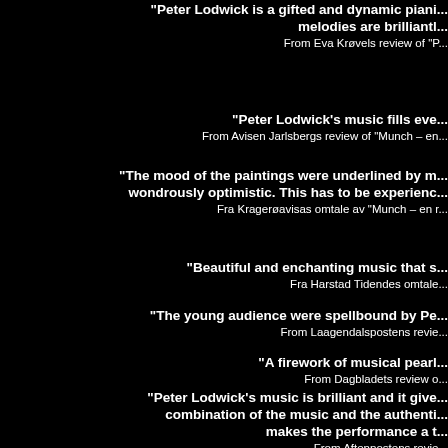"Peter Lodwick is a gifted and dynamic pianist... melodies are brilliantl... From Eva Krøvels review of "P...
"Peter Lodwick's music fills eve... From Avisen Jarlsbergs review of "Munch – en...
"The mood of the paintings were underlined by m... wondrously optimistic. This has to be experienc... Fra Kragerøavisas omtale av "Munch – en r...
"Beautiful and enchanting music that s... Fra Harstad Tidendes omtale...
"The young audience were spellbound by Pe... From Laagendalspostens revie...
"A firework of musical pearl... From Dagbladets review o...
"Peter Lodwick's music is brilliant and it give... combination of the music and the authenti... makes the performance a t... From Aftenpostens revie...